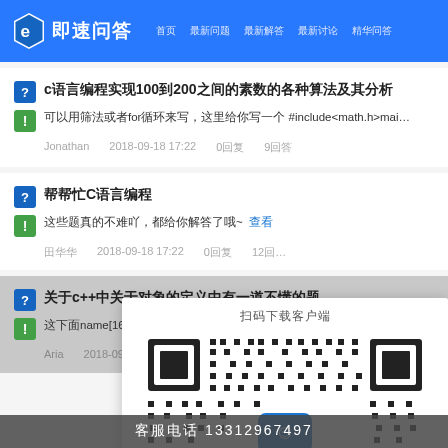即速问答 首页 最新问题 最新解答 最新讨论 精华问答
c语言编程实现100到200之间的素数的各种算法及其分析
可以用筛法或者for循环来写，这里给你写一个 #include<math.h>main(){intm,k,i,n=o;for(m=101;
Jonathan   2018-09-18 17:22   0回复   9回答
帮帮忙C语言编程
这些题真的不难吖，都给你解答了哦~   查看
田华华   2018-09-18 17:22   0回复   12回答
关于c++中关于对象的定义中有一道不懂的题
设下name[16]中保存的是name对象的…   classgam
Aria   2018-09-18 17:22   0回复
[Figure (other): QR code popup with title and QR code image]
客服电话 13312967497